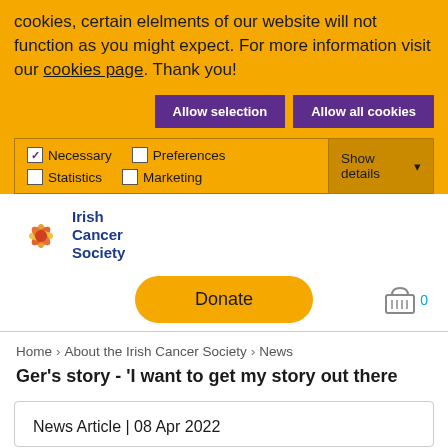cookies, certain elelments of our website will not function as you might expect. For more information visit our cookies page. Thank you!
Allow selection | Allow all cookies
Necessary  Preferences  Statistics  Marketing  Show details
[Figure (logo): Irish Cancer Society logo with stylized flower/star in orange and red, text 'Irish Cancer Society' in blue]
Donate
Home  About the Irish Cancer Society  News
Ger's story - 'I want to get my story out there
News Article | 08 Apr 2022